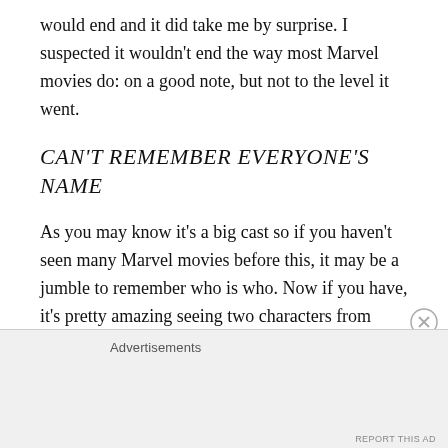would end and it did take me by surprise. I suspected it wouldn't end the way most Marvel movies do: on a good note, but not to the level it went.
CAN'T REMEMBER EVERYONE'S NAME
As you may know it's a big cast so if you haven't seen many Marvel movies before this, it may be a jumble to remember who is who. Now if you have, it's pretty amazing seeing two characters from different universes meeting and fighting together. If you liked what you saw in the trailer with them working together, there's even more to get excited about.
Advertisements